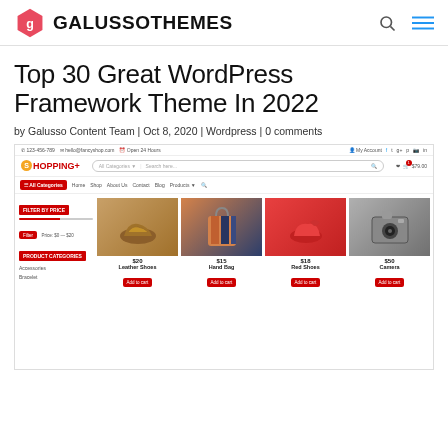GALUSSOTHEMES
Top 30 Great WordPress Framework Theme In 2022
by Galusso Content Team | Oct 8, 2020 | Wordpress | 0 comments
[Figure (screenshot): Screenshot of a WooCommerce/Shopping+ WordPress theme demo showing a product shop page with filter sidebar, product grid (Leather Shoes $20, Hand Bag $15, Red Shoes $18, Camera $50), shopping cart navigation, and category navigation bar.]